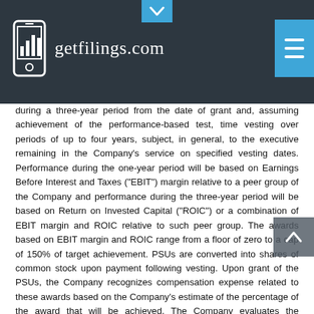getfilings.com
during a three-year period from the date of grant and, assuming achievement of the performance-based test, time vesting over periods of up to four years, subject, in general, to the executive remaining in the Company's service on specified vesting dates. Performance during the one-year period will be based on Earnings Before Interest and Taxes ("EBIT") margin relative to a peer group of the Company and performance during the three-year period will be based on Return on Invested Capital ("ROIC") or a combination of EBIT margin and ROIC relative to such peer group. The awards based on EBIT margin and ROIC range from a floor of zero to a cap of 150% of target achievement. PSUs are converted into shares of common stock upon payment following vesting. Upon grant of the PSUs, the Company recognizes compensation expense related to these awards based on the Company's estimate of the percentage of the award that will be achieved. The Company evaluates the estimate on these awards on a quarterly basis and adjusts compensation expense related to these awards, as appropriate. As of December 1, 2018, unrecognized compensation expense related to the unvested portion of the Company's performance stock units was $24.6 million, which is expected to be recognized over a weighted average period of 1.8 years.
Changes in the Company's PSUs for the nine months ended December 1,